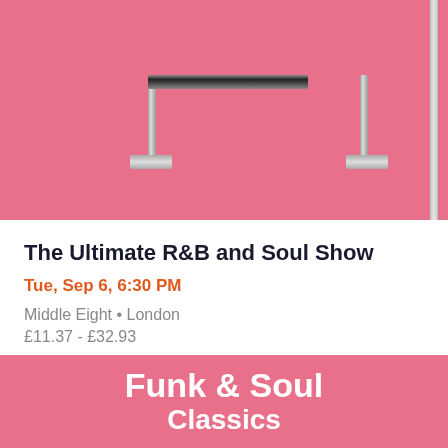[Figure (photo): Pink retro suitcase or record case with a silver/chrome carry handle and bracket feet visible at top, on pink background with a vertical chrome bar on the right side]
The Ultimate R&B and Soul Show
Tue, Sep 6, 6:30 PM
Middle Eight • London
£11.37 - £32.93
[Figure (photo): Pink background with bold white text reading 'Funk & Soul Classics' and a vertical chrome bar on the right side]